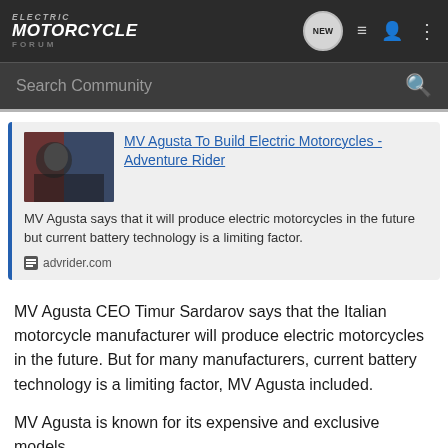[Figure (screenshot): Electric Motorcycle Forum navigation bar with logo, NEW bubble, list icon, user icon, and more options icon]
[Figure (screenshot): Search Community search bar with magnifying glass icon]
[Figure (screenshot): Article card with thumbnail image, link title 'MV Agusta To Build Electric Motorcycles - Adventure Rider', description text, and advrider.com source]
MV Agusta CEO Timur Sardarov says that the Italian motorcycle manufacturer will produce electric motorcycles in the future. But for many manufacturers, current battery technology is a limiting factor, MV Agusta included.
MV Agusta is known for its expensive and exclusive models